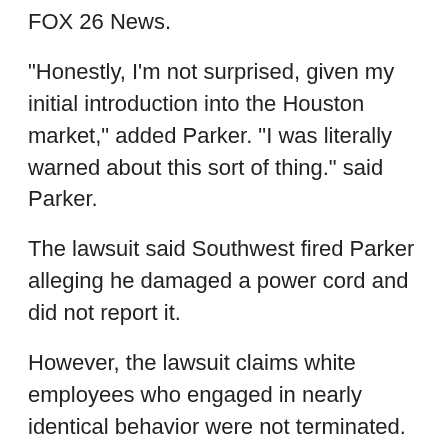FOX 26 News.
"Honestly, I'm not surprised, given my initial introduction into the Houston market," added Parker. "I was literally warned about this sort of thing." said Parker.
The lawsuit said Southwest fired Parker alleging he damaged a power cord and did not report it.
However, the lawsuit claims white employees who engaged in nearly identical behavior were not terminated.
In a statement, Southwest said it couldn't comment on pending litigation but says it prides itself in being an equal opportunity employer.